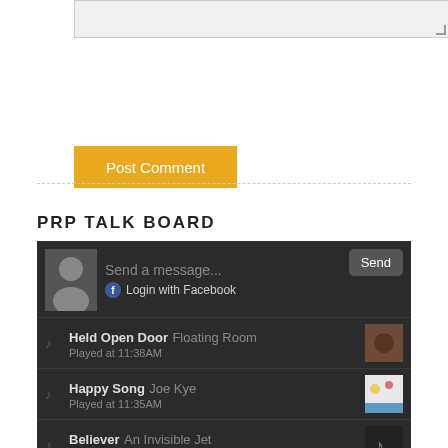[Figure (screenshot): Text input textarea (grey, partially visible at top of page)]
[Figure (screenshot): Orange 'Post Comment' button]
PRP TALK BOARD
[Figure (screenshot): PRP Talk Board widget with dark background, showing 'Send a message...', 'Login with Facebook', and track list: 'Held Open Door Floating Room Played at 11:38AM', 'Happy Song Joe Kye Played at 11:35AM', 'Believer An Invisible Jet Played at 11:30AM', 'Ladder Creek Falls...' (partially visible)]